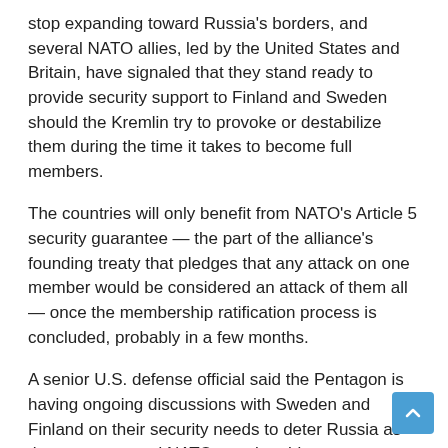stop expanding toward Russia's borders, and several NATO allies, led by the United States and Britain, have signaled that they stand ready to provide security support to Finland and Sweden should the Kremlin try to provoke or destabilize them during the time it takes to become full members.
The countries will only benefit from NATO's Article 5 security guarantee — the part of the alliance's founding treaty that pledges that any attack on one member would be considered an attack of them all — once the membership ratification process is concluded, probably in a few months.
A senior U.S. defense official said the Pentagon is having ongoing discussions with Sweden and Finland on their security needs to deter Russia as they move toward NATO membership.
The official, who spoke on condition of anonymity to discuss private Pentagon discussions, said Defense Secretary Lloyd Austin met with Swedish Defense Minister Peter Hultqvist Wednesday and they spoke about the interim period.